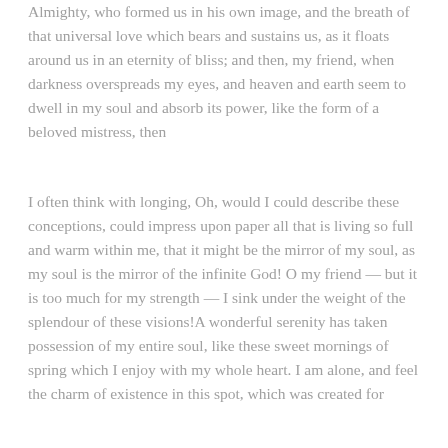Almighty, who formed us in his own image, and the breath of that universal love which bears and sustains us, as it floats around us in an eternity of bliss; and then, my friend, when darkness overspreads my eyes, and heaven and earth seem to dwell in my soul and absorb its power, like the form of a beloved mistress, then
I often think with longing, Oh, would I could describe these conceptions, could impress upon paper all that is living so full and warm within me, that it might be the mirror of my soul, as my soul is the mirror of the infinite God! O my friend — but it is too much for my strength — I sink under the weight of the splendour of these visions!A wonderful serenity has taken possession of my entire soul, like these sweet mornings of spring which I enjoy with my whole heart. I am alone, and feel the charm of existence in this spot, which was created for